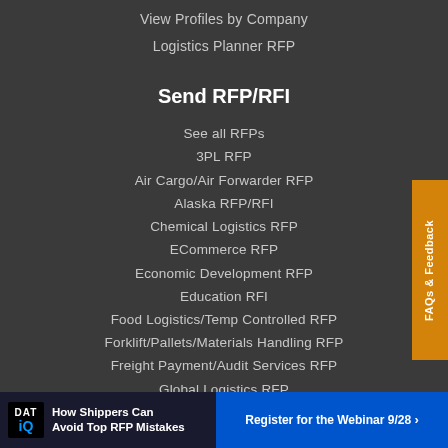View Profiles by Company
Logistics Planner RFP
Send RFP/RFI
See all RFPs
3PL RFP
Air Cargo/Air Forwarder RFP
Alaska RFP/RFI
Chemical Logistics RFP
ECommerce RFP
Economic Development RFP
Education RFI
Food Logistics/Temp Controlled RFP
Forklift/Pallets/Materials Handling RFP
Freight Payment/Audit Services RFP
Global Logistics RFP
Latin America RFP
[Figure (infographic): DAT IQ advertisement banner: How Shippers Can Avoid Top RFP Mistakes. Register for the Webinar 9/28 button on the right.]